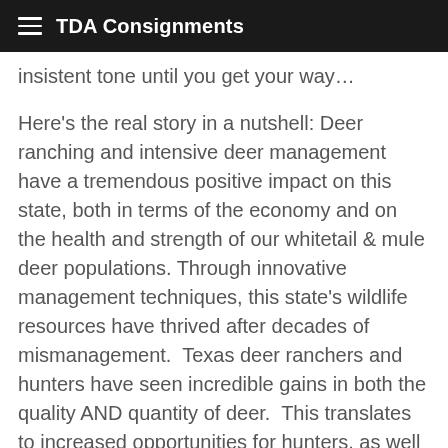TDA Consignments
insistent tone until you get your way…
Here's the real story in a nutshell: Deer ranching and intensive deer management have a tremendous positive impact on this state, both in terms of the economy and on the health and strength of our whitetail & mule deer populations. Through innovative management techniques, this state's wildlife resources have thrived after decades of mismanagement.  Texas deer ranchers and hunters have seen incredible gains in both the quality AND quantity of deer.  This translates to increased opportunities for hunters, as well as an increase in value of Texas agricultural properties.
Deer ranching is good for Texas landowners, good for Texas hunters, and good for the Texas economy.  And